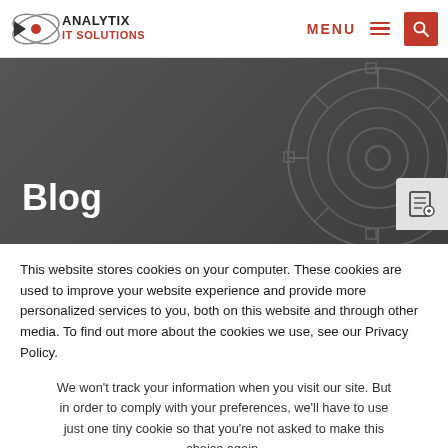ANALYTIX IT SOLUTIONS — MENU — Search
[Figure (screenshot): Dark grey hero banner with 'Blog' title in white bold text and a faint circular tech gear graphic on the right side]
Blog
This website stores cookies on your computer. These cookies are used to improve your website experience and provide more personalized services to you, both on this website and through other media. To find out more about the cookies we use, see our Privacy Policy.
We won't track your information when you visit our site. But in order to comply with your preferences, we'll have to use just one tiny cookie so that you're not asked to make this choice again.
Accept   Decline